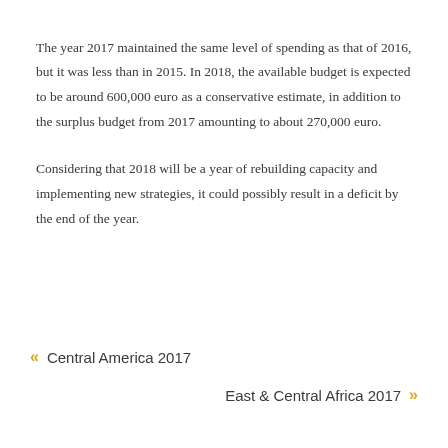The year 2017 maintained the same level of spending as that of 2016, but it was less than in 2015. In 2018, the available budget is expected to be around 600,000 euro as a conservative estimate, in addition to the surplus budget from 2017 amounting to about 270,000 euro.
Considering that 2018 will be a year of rebuilding capacity and implementing new strategies, it could possibly result in a deficit by the end of the year.
« Central America 2017
East & Central Africa 2017 »